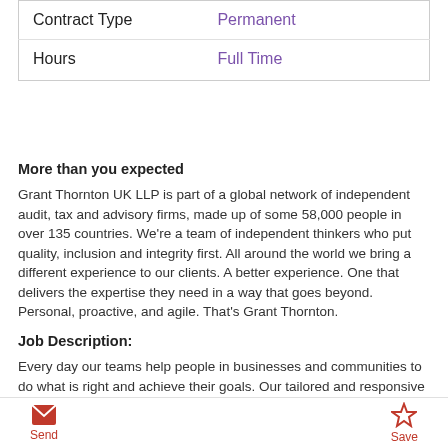|  |  |
| --- | --- |
| Contract Type | Permanent |
| Hours | Full Time |
More than you expected
Grant Thornton UK LLP is part of a global network of independent audit, tax and advisory firms, made up of some 58,000 people in over 135 countries. We're a team of independent thinkers who put quality, inclusion and integrity first. All around the world we bring a different experience to our clients. A better experience. One that delivers the expertise they need in a way that goes beyond. Personal, proactive, and agile. That's Grant Thornton.
Job Description:
Every day our teams help people in businesses and communities to do what is right and achieve their goals. Our tailored and responsive approach provides the expertise our clients need, enabling them to grow and make the right decisions about their future.
Now's the time to take everything you know about audit to the next
Send   Save